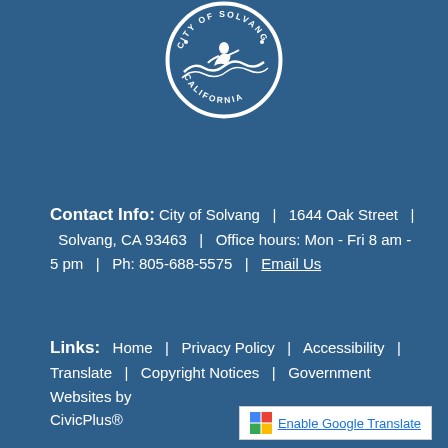[Figure (logo): City of Solvang California circular seal/logo in white on blue background, featuring a figure on a wave with text around the border]
Contact Info:  City of Solvang  |  1644 Oak Street  |  Solvang, CA 93463  |  Office hours: Mon - Fri 8 am - 5 pm  |  Ph: 805-688-5575  |  Email Us
Links:  Home  |  Privacy Policy  |  Accessibility  |  Translate  |  Copyright Notices  |  Government Websites by CivicPlus®
Enable Google Translate